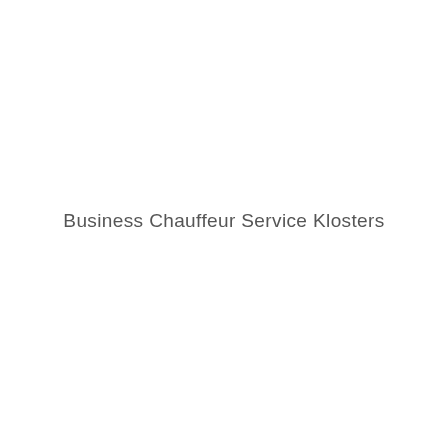Business Chauffeur Service Klosters